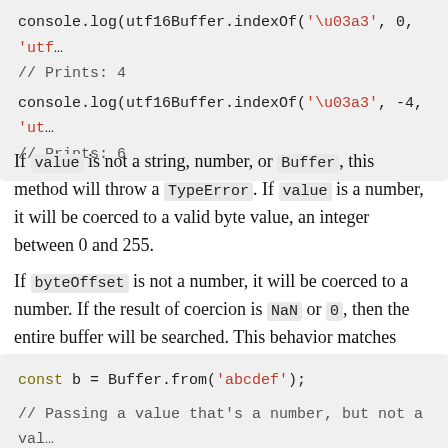[Figure (screenshot): Code block showing console.log(utf16Buffer.indexOf('\u03a3', 0, 'utf...')) and // Prints: 4, then console.log(utf16Buffer.indexOf('\u03a3', -4, 'utf...')) and // Prints: 6]
If value is not a string, number, or Buffer, this method will throw a TypeError. If value is a number, it will be coerced to a valid byte value, an integer between 0 and 255.
If byteOffset is not a number, it will be coerced to a number. If the result of coercion is NaN or 0, then the entire buffer will be searched. This behavior matches String#indexOf().
[Figure (screenshot): Code block showing: const b = Buffer.from('abcdef'); // Passing a value that's a number, but not a val... // Prints: 2, equivalent to searching for 99 or '... console.log(b.indexOf(99.9));]